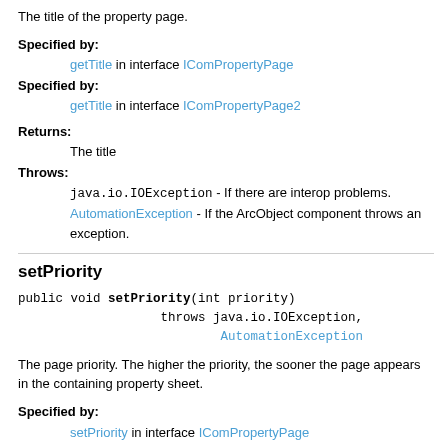The title of the property page.
Specified by:
    getTitle in interface IComPropertyPage
Specified by:
    getTitle in interface IComPropertyPage2
Returns:
    The title
Throws:
    java.io.IOException - If there are interop problems.
    AutomationException - If the ArcObject component throws an exception.
setPriority
public void setPriority(int priority)
                  throws java.io.IOException,
                         AutomationException
The page priority. The higher the priority, the sooner the page appears in the containing property sheet.
Specified by:
    setPriority in interface IComPropertyPage
Specified by:
    setPriority in interface IComPropertyPage2